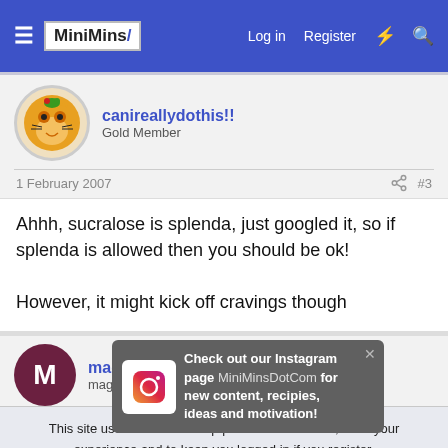MiniMins — Log in  Register
canireallydothis!! Gold Member
1 February 2007  #3
Ahhh, sucralose is splenda, just googled it, so if splenda is allowed then you should be ok!

However, it might kick off cravings though
mags1x mags
[Figure (screenshot): Instagram popup: Check out our Instagram page MiniMinsDotCom for new content, recipies, ideas and motivation!]
This site uses cookies to help personalise content, tailor your experience and to keep you logged in if you register. By continuing to use this site, you are consenting to our use of cookies.
Accept  Learn more...